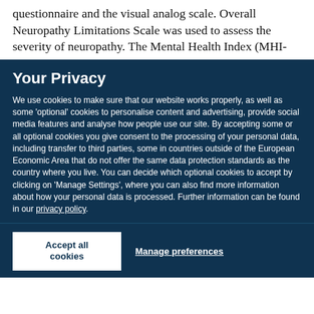questionnaire and the visual analog scale. Overall Neuropathy Limitations Scale was used to assess the severity of neuropathy. The Mental Health Index (MHI-
Your Privacy
We use cookies to make sure that our website works properly, as well as some 'optional' cookies to personalise content and advertising, provide social media features and analyse how people use our site. By accepting some or all optional cookies you give consent to the processing of your personal data, including transfer to third parties, some in countries outside of the European Economic Area that do not offer the same data protection standards as the country where you live. You can decide which optional cookies to accept by clicking on 'Manage Settings', where you can also find more information about how your personal data is processed. Further information can be found in our privacy policy.
Accept all cookies
Manage preferences